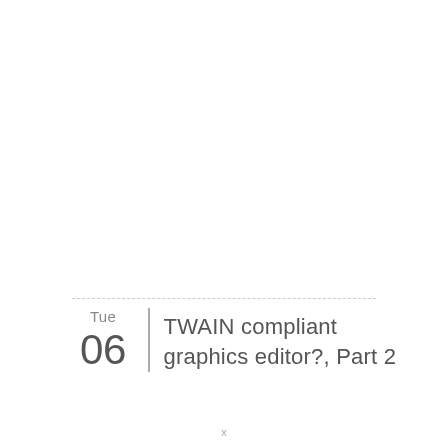TWAIN compliant graphics editor?, Part 2
x